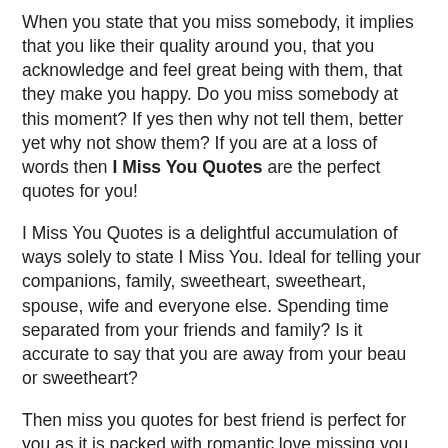When you state that you miss somebody, it implies that you like their quality around you, that you acknowledge and feel great being with them, that they make you happy. Do you miss somebody at this moment? If yes then why not tell them, better yet why not show them? If you are at a loss of words then I Miss You Quotes are the perfect quotes for you!
I Miss You Quotes is a delightful accumulation of ways solely to state I Miss You. Ideal for telling your companions, family, sweetheart, sweetheart, spouse, wife and everyone else. Spending time separated from your friends and family? Is it accurate to say that you are away from your beau or sweetheart?
Then miss you quotes for best friend is perfect for you as it is packed with romantic love missing you images quotes for him and for her! This website includes many sweets I Love You sayings, Say I Miss You messages and missing you cards. All you have to do is to just pick your favorite I Miss You messages that suit your current mood the best and click share to send